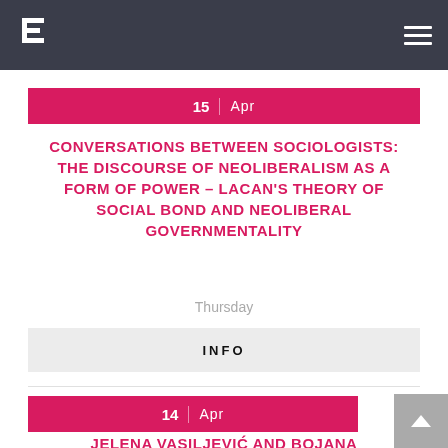Euroalter logo and navigation menu
15 Apr
CONVERSATIONS BETWEEN SOCIOLOGISTS: THE DISCOURSE OF NEOLIBERALISM AS A FORM OF POWER – LACAN'S THEORY OF SOCIAL BOND AND NEOLIBERAL GOVERNMENTALITY
Thursday
INFO
14 Apr
JELENA VASILJEVIĆ AND BOJANA